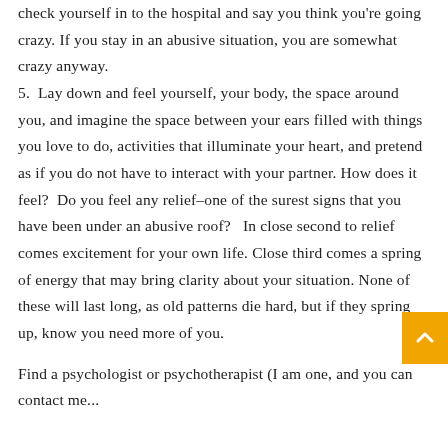check yourself in to the hospital and say you think you're going crazy. If you stay in an abusive situation, you are somewhat crazy anyway.
5.  Lay down and feel yourself, your body, the space around you, and imagine the space between your ears filled with things you love to do, activities that illuminate your heart, and pretend as if you do not have to interact with your partner. How does it feel?  Do you feel any relief–one of the surest signs that you have been under an abusive roof?   In close second to relief comes excitement for your own life. Close third comes a spring of energy that may bring clarity about your situation. None of these will last long, as old patterns die hard, but if they spring up, know you need more of you.
Find a psychologist or psychotherapist (I am one, and you can contact me...